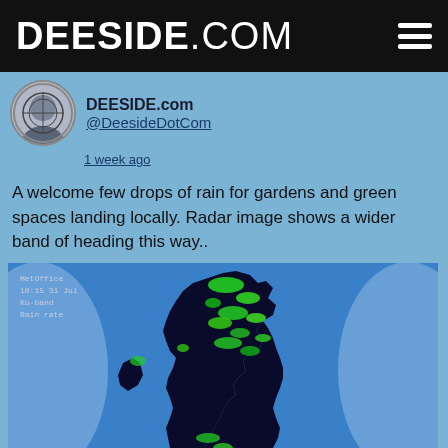DEESIDE.COM
DEESIDE.com @DeesideDotCom
1 week ago
A welcome few drops of rain for gardens and green spaces landing locally. Radar image shows a wider band of heading this way..
[Figure (map): UK weather radar image showing rain bands over Scotland and parts of England/Wales, displayed in blue background with green precipitation markers on a dark landmass outline.]